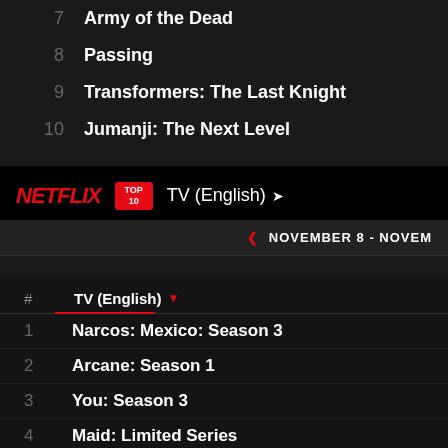7 Army of the Dead
8 Passing
9 Transformers: The Last Knight
10 Jumanji: The Next Level
NETFLIX TOP 10 TV (English)
NOVEMBER 8 - NOVEM...
# TV (English)
1 Narcos: Mexico: Season 3
2 Arcane: Season 1
3 You: Season 3
4 Maid: Limited Series
5 Big Mouth: Season 5
6 Dynasty: Season 4